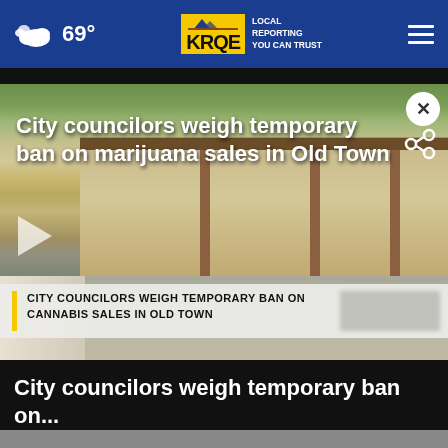69° KRQE LOCAL REPORTING YOU CAN TRUST
[Figure (screenshot): Video thumbnail showing Old Town street scene with adobe buildings and pedestrians. Lower third chyron reads: CITY COUNCILORS WEIGH TEMPORARY BAN ON CANNABIS SALES IN OLD TOWN. Overlay title reads: City councilors weigh temporary ban on marijuana sales in Old Town]
City councilors weigh temporary ban on...